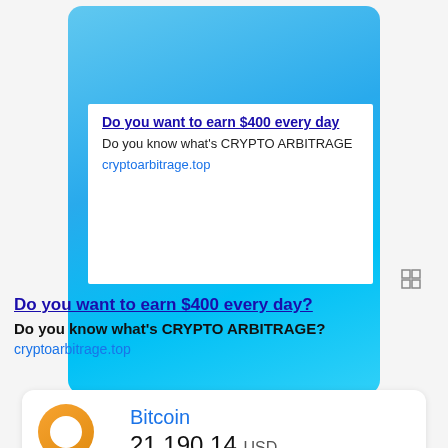[Figure (screenshot): Advertisement banner with blue gradient background and white inner box. Contains link 'Do you want to earn $400 every day' with description 'Do you know what's CRYPTO ARBITRAGE?' and URL 'cryptoarbitrage.top']
Do you want to earn $400 every day?
Do you know what's CRYPTO ARBITRAGE?
cryptoarbitrage.top
Bitcoin
21,190.14 USD